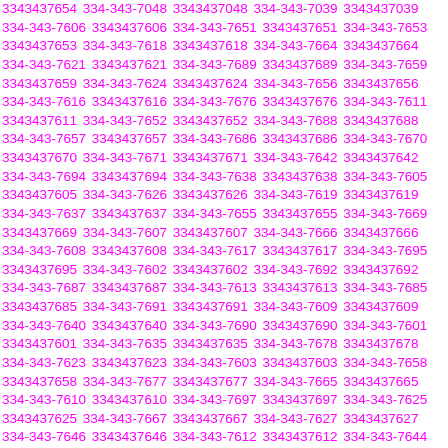3343437654 334-343-7048 3343437048 334-343-7039 3343437039 334-343-7606 3343437606 334-343-7651 3343437651 334-343-7653 3343437653 334-343-7618 3343437618 334-343-7664 3343437664 334-343-7621 3343437621 334-343-7689 3343437689 334-343-7659 3343437659 334-343-7624 3343437624 334-343-7656 3343437656 334-343-7616 3343437616 334-343-7676 3343437676 334-343-7611 3343437611 334-343-7652 3343437652 334-343-7688 3343437688 334-343-7657 3343437657 334-343-7686 3343437686 334-343-7670 3343437670 334-343-7671 3343437671 334-343-7642 3343437642 334-343-7694 3343437694 334-343-7638 3343437638 334-343-7605 3343437605 334-343-7626 3343437626 334-343-7619 3343437619 334-343-7637 3343437637 334-343-7655 3343437655 334-343-7669 3343437669 334-343-7607 3343437607 334-343-7666 3343437666 334-343-7608 3343437608 334-343-7617 3343437617 334-343-7695 3343437695 334-343-7602 3343437602 334-343-7692 3343437692 334-343-7687 3343437687 334-343-7613 3343437613 334-343-7685 3343437685 334-343-7691 3343437691 334-343-7609 3343437609 334-343-7640 3343437640 334-343-7690 3343437690 334-343-7601 3343437601 334-343-7635 3343437635 334-343-7678 3343437678 334-343-7623 3343437623 334-343-7603 3343437603 334-343-7658 3343437658 334-343-7677 3343437677 334-343-7665 3343437665 334-343-7610 3343437610 334-343-7697 3343437697 334-343-7625 3343437625 334-343-7667 3343437667 334-343-7627 3343437627 334-343-7646 3343437646 334-343-7612 3343437612 334-343-7644 3343437644 334-343-7628 3343437628 334-343-7684 3343437684 334-343-7659 3343437659 334-343-7654 3343437654 334-343-